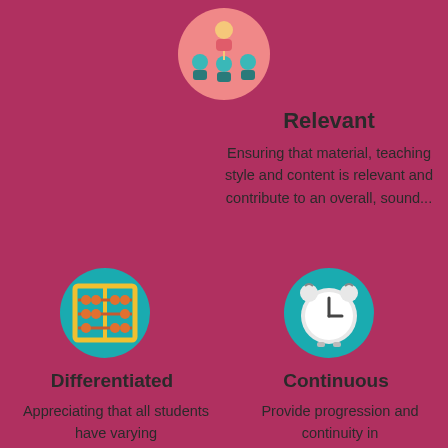[Figure (illustration): Teal circle icon with a teacher/presenter figure at top and group of students below, on a salmon/pink circular background]
Relevant
Ensuring that material, teaching style and content is relevant and contribute to an overall, sound...
[Figure (illustration): Teal circle icon with an abacus (counting frame) in yellow and orange on teal background]
Differentiated
Appreciating that all students have varying
[Figure (illustration): Teal circle icon with an alarm clock in white/light colors on teal background]
Continuous
Provide progression and continuity in